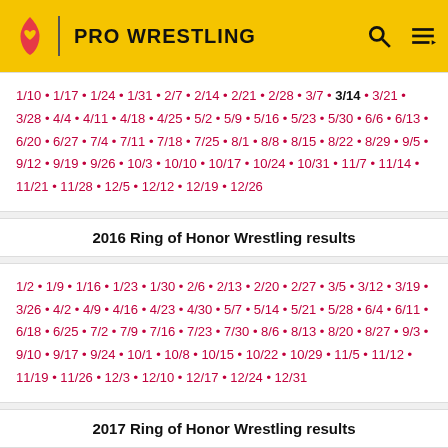PRO WRESTLING
1/10 • 1/17 • 1/24 • 1/31 • 2/7 • 2/14 • 2/21 • 2/28 • 3/7 • 3/14 • 3/21 • 3/28 • 4/4 • 4/11 • 4/18 • 4/25 • 5/2 • 5/9 • 5/16 • 5/23 • 5/30 • 6/6 • 6/13 • 6/20 • 6/27 • 7/4 • 7/11 • 7/18 • 7/25 • 8/1 • 8/8 • 8/15 • 8/22 • 8/29 • 9/5 • 9/12 • 9/19 • 9/26 • 10/3 • 10/10 • 10/17 • 10/24 • 10/31 • 11/7 • 11/14 • 11/21 • 11/28 • 12/5 • 12/12 • 12/19 • 12/26
2016 Ring of Honor Wrestling results
1/2 • 1/9 • 1/16 • 1/23 • 1/30 • 2/6 • 2/13 • 2/20 • 2/27 • 3/5 • 3/12 • 3/19 • 3/26 • 4/2 • 4/9 • 4/16 • 4/23 • 4/30 • 5/7 • 5/14 • 5/21 • 5/28 • 6/4 • 6/11 • 6/18 • 6/25 • 7/2 • 7/9 • 7/16 • 7/23 • 7/30 • 8/6 • 8/13 • 8/20 • 8/27 • 9/3 • 9/10 • 9/17 • 9/24 • 10/1 • 10/8 • 10/15 • 10/22 • 10/29 • 11/5 • 11/12 • 11/19 • 11/26 • 12/3 • 12/10 • 12/17 • 12/24 • 12/31
2017 Ring of Honor Wrestling results